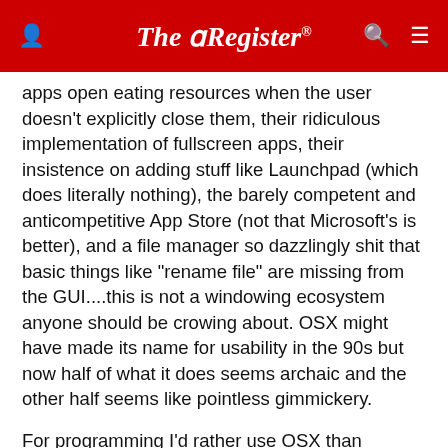The Register
apps open eating resources when the user doesn't explicitly close them, their ridiculous implementation of fullscreen apps, their insistence on adding stuff like Launchpad (which does literally nothing), the barely competent and anticompetitive App Store (not that Microsoft's is better), and a file manager so dazzlingly shit that basic things like "rename file" are missing from the GUI....this is not a windowing ecosystem anyone should be crowing about. OSX might have made its name for usability in the 90s but now half of what it does seems archaic and the other half seems like pointless gimmickery.
For programming I'd rather use OSX than Windows because OSX has a competent-if-underdeveloped command line, but I'd rather use Linux over either of them because KDE is a competent windowing system with many advanced options and a great app suite, and Linux has far superior programming tools, package managers, etc. And I bet it could run on a